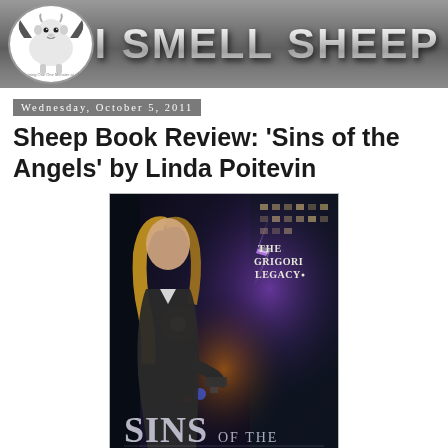[Figure (logo): I Smell Sheep blog header banner with sheep mascot logo on left and 'I SMELL SHEEP' text in large metallic 3D letters on gray gradient background]
Wednesday, October 5, 2011
Sheep Book Review: 'Sins of the Angels' by Linda Poitevin
[Figure (photo): Book cover of 'Sins of the Angels' - The Grigori Legacy series. Shows a blonde woman in a dark coat holding a gun in a dark alley with purple lightning/supernatural effects in background. Large text reads 'SINS OF THE' at the bottom and 'THE GRIGORI LEGACY' at top right.]